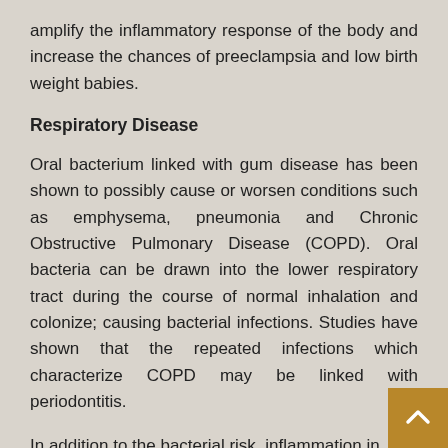amplify the inflammatory response of the body and increase the chances of preeclampsia and low birth weight babies.
Respiratory Disease
Oral bacterium linked with gum disease has been shown to possibly cause or worsen conditions such as emphysema, pneumonia and Chronic Obstructive Pulmonary Disease (COPD). Oral bacteria can be drawn into the lower respiratory tract during the course of normal inhalation and colonize; causing bacterial infections. Studies have shown that the repeated infections which characterize COPD may be linked with periodontitis.
In addition to the bacterial risk, inflammation in tissue can lead to severe inflammation in the lipi...